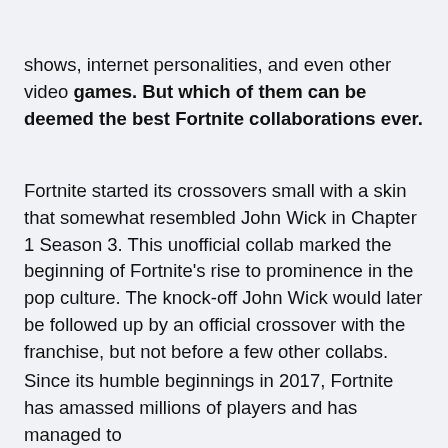shows, internet personalities, and even other video games. But which of them can be deemed the best Fortnite collaborations ever.
Fortnite started its crossovers small with a skin that somewhat resembled John Wick in Chapter 1 Season 3. This unofficial collab marked the beginning of Fortnite's rise to prominence in the pop culture. The knock-off John Wick would later be followed up by an official crossover with the franchise, but not before a few other collabs.
Since its humble beginnings in 2017, Fortnite has amassed millions of players and has managed to collaborate with some of the largest pop culture IPs. From